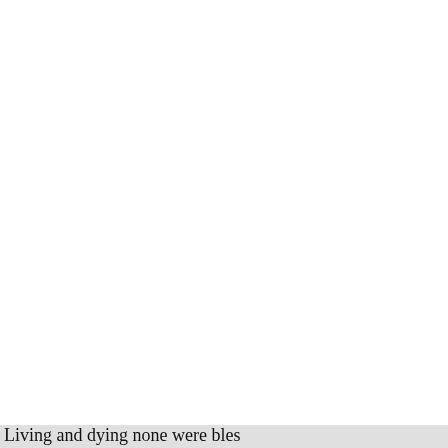and ever-blessed Lord God, may
to thy kingdom, for Jesus Christ
JANUARY 2.
" Friend after friend depart
Who hath not lost a friend
There is no union here of he
That finds not here an en
Were this frail life our only
Living or dying, non
How truly do these lines fal
of every man's history as he
year just closed, and carries
a few of its predecessors ? I
some friend, or divided him
nion! Oh, were there no me
future day, when those who
and dear shall hail and bless
Living and dying none were bles